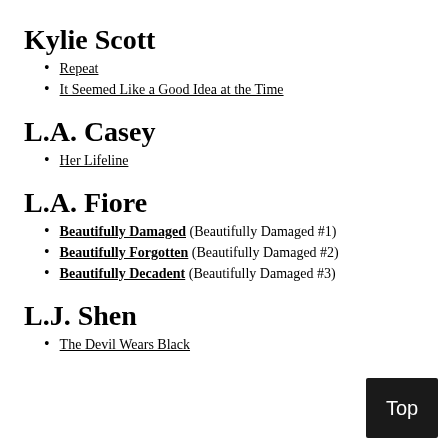Kylie Scott
Repeat
It Seemed Like a Good Idea at the Time
L.A. Casey
Her Lifeline
L.A. Fiore
Beautifully Damaged (Beautifully Damaged #1)
Beautifully Forgotten (Beautifully Damaged #2)
Beautifully Decadent (Beautifully Damaged #3)
L.J. Shen
The Devil Wears Black